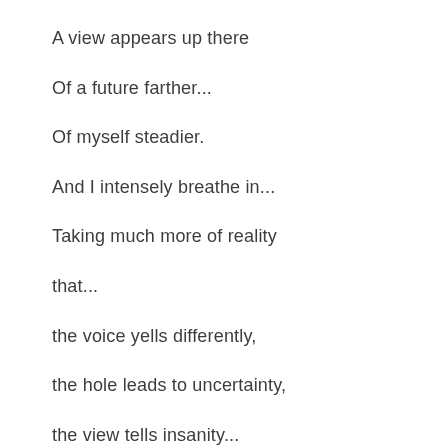A view appears up there
Of a future farther...
Of myself steadier.
And I intensely breathe in...
Taking much more of reality
that...
the voice yells differently,
the hole leads to uncertainty,
the view tells insanity...
that...